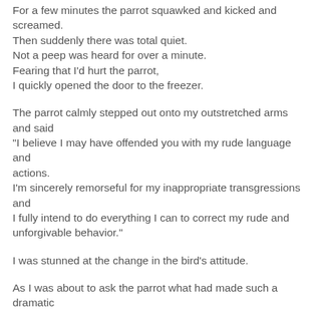For a few minutes the parrot squawked and kicked and screamed.
Then suddenly there was total quiet.
Not a peep was heard for over a minute.
Fearing that I'd hurt the parrot,
I quickly opened the door to the freezer.
The parrot calmly stepped out onto my outstretched arms and said
"I believe I may have offended you with my rude language and
actions.
I'm sincerely remorseful for my inappropriate transgressions and
I fully intend to do everything I can to correct my rude and unforgivable behavior."
I was stunned at the change in the bird's attitude.
As I was about to ask the parrot what had made such a dramatic
change in his behavior, the bird continued,